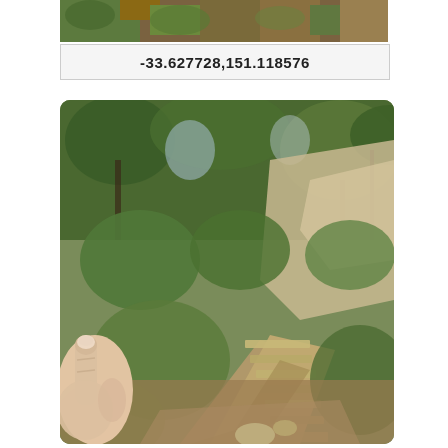[Figure (photo): Top strip of a nature/trail photo showing vegetation and earthy tones, partially cropped]
-33.627728,151.118576
[Figure (photo): A rocky bush trail with stone steps going uphill, surrounded by green scrubland trees and grass. A hand/finger is visible in the lower left corner pointing toward the steps.]